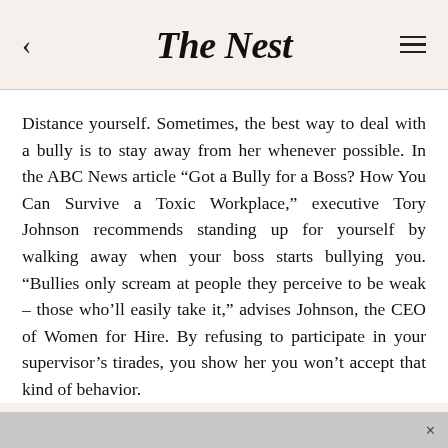The Nest
Distance yourself. Sometimes, the best way to deal with a bully is to stay away from her whenever possible. In the ABC News article “Got a Bully for a Boss? How You Can Survive a Toxic Workplace,” executive Tory Johnson recommends standing up for yourself by walking away when your boss starts bullying you. “Bullies only scream at people they perceive to be weak – those who’ll easily take it,” advises Johnson, the CEO of Women for Hire. By refusing to participate in your supervisor’s tirades, you show her you won’t accept that kind of behavior.